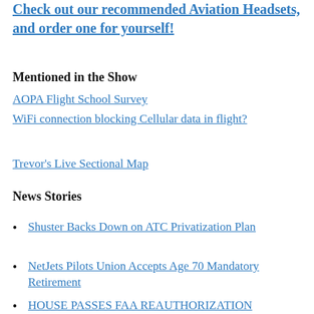Check out our recommended Aviation Headsets, and order one for yourself!
Mentioned in the Show
AOPA Flight School Survey
WiFi connection blocking Cellular data in flight?
Trevor's Live Sectional Map
News Stories
Shuster Backs Down on ATC Privatization Plan
NetJets Pilots Union Accepts Age 70 Mandatory Retirement
HOUSE PASSES FAA REAUTHORIZATION